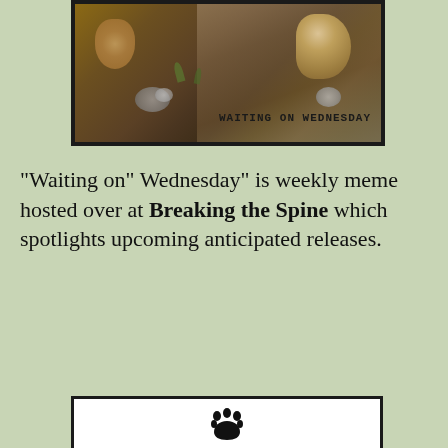[Figure (photo): Photo of a dog sniffing or investigating something on the ground (dirt/soil with small rocks and grass sprigs). The image has a dark border/frame. Text overlaid in the bottom right reads 'WAITING ON WEDNESDAY' in a bold stamp-like font.]
"Waiting on" Wednesday" is weekly meme hosted over at Breaking the Spine which spotlights upcoming anticipated releases.
[Figure (photo): Bottom partial image showing white background with a black paw print icon in the center, partially cut off at bottom of page.]